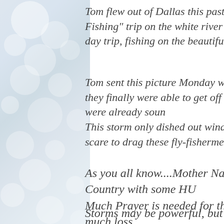Tom flew out of Dallas this past Sunday morning for a "Fly Fishing" trip on the white river in the North East. It was a three day trip, fishing on the beautiful river and just relaxing.
Tom sent this picture Monday while fishing when the storm hit, they finally were able to get off of the river, and back to camp, were already sound asleep in their tents. This storm only dished out winds and rain, but it took quite a scare to drag these fly-fishermen off of the river!
As you all know....Mother Nature has hit the Country with some HUGE storms. Much Prayer is needed for the families suffering much loss.
Storms may be powerful, but Prayer...